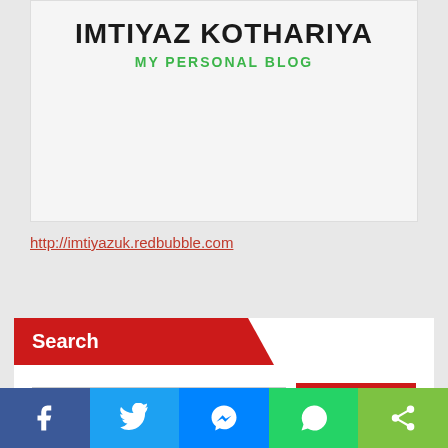[Figure (screenshot): Blog header image with text IMTIYAZ KOTHARIYA and MY PERSONAL BLOG on a light background]
http://imtiyazuk.redbubble.com
Search
Search input field and button
Recent Posts
Social share bar: Facebook, Twitter, Messenger, WhatsApp, Share